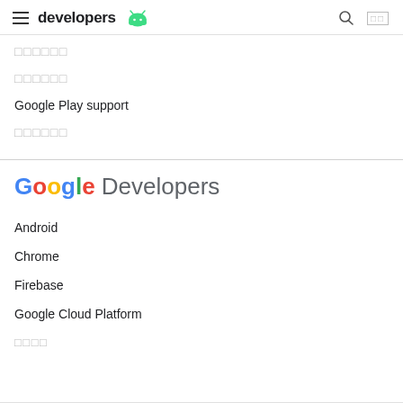developers [Android logo] [search] [lang]
□□□□□□
□□□□□□
Google Play support
□□□□□□
Google Developers
Android
Chrome
Firebase
Google Cloud Platform
□□□□